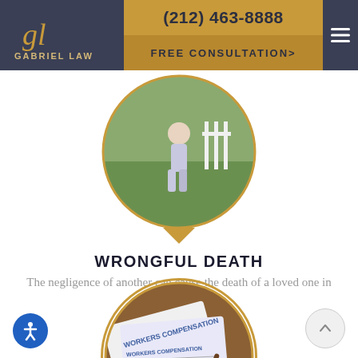[Figure (logo): Gabriel Law logo with stylized 'gl' script and firm name]
(212) 463-8888
FREE CONSULTATION>
[Figure (photo): Circular photo of person walking on grass, wrongful death section]
WRONGFUL DEATH
The negligence of another can cause the death of a loved one in an accident.
[Figure (photo): Circular photo showing workers compensation form and calculator]